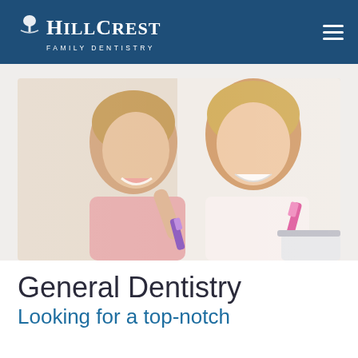HILLCREST FAMILY DENTISTRY
[Figure (photo): A young girl and her mother brushing their teeth together, both smiling, holding toothbrushes]
General Dentistry
Looking for a top-notch